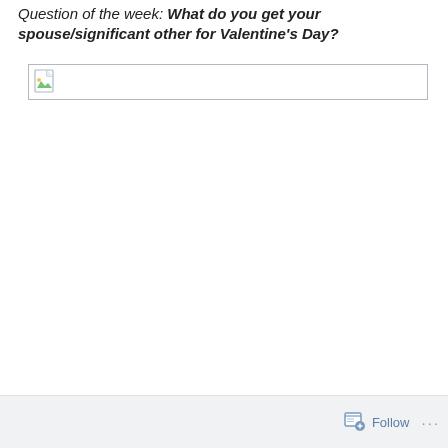Question of the week: What do you get your spouse/significant other for Valentine's Day?
[Figure (other): Broken/missing image placeholder — a small broken image icon inside a bordered rectangular box]
Follow ···